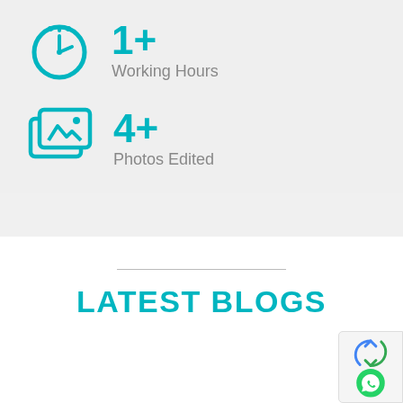[Figure (infographic): Teal clock icon with a stat: 1+ Working Hours]
1+
Working Hours
[Figure (infographic): Teal photo/image stack icon with a stat: 4+ Photos Edited]
4+
Photos Edited
LATEST BLOGS